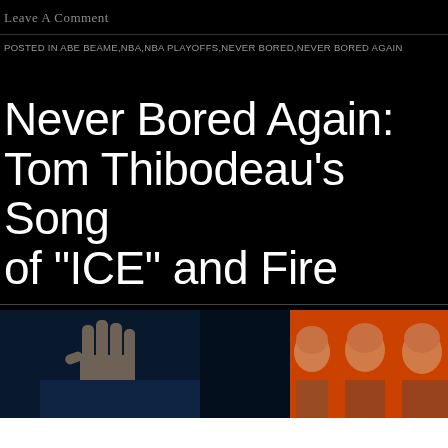Leave A Comment
POSTED IN ABE BEAME,NBA,NBA PLAYOFFS,NEVER BORED,NEVER BORED AGAIN
Never Bored Again: Tom Thibodeau’s Song of “ICE” and Fire
[Figure (photo): Photo strip showing a hand raised on blue/dark background on the left, and three men's faces on an orange/red background on the right, appearing to be Tom Thibodeau shown multiple times]